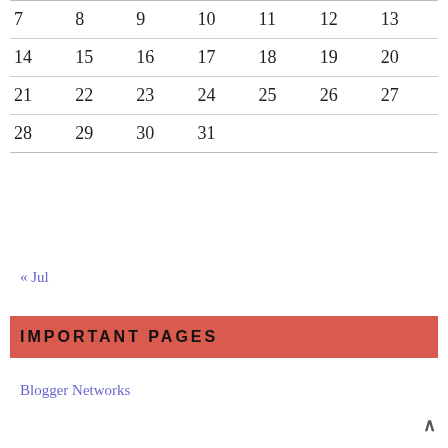| 7 | 8 | 9 | 10 | 11 | 12 | 13 |
| 14 | 15 | 16 | 17 | 18 | 19 | 20 |
| 21 | 22 | 23 | 24 | 25 | 26 | 27 |
| 28 | 29 | 30 | 31 |  |  |  |
« Jul
IMPORTANT PAGES
Blogger Networks